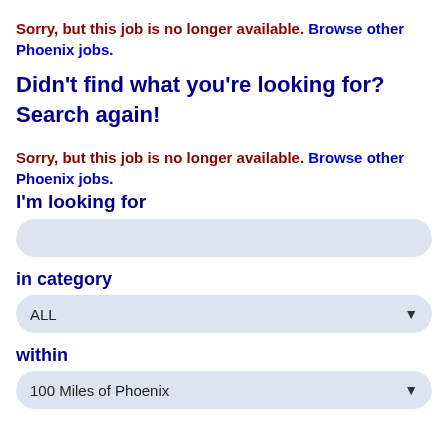Sorry, but this job is no longer available. Browse other Phoenix jobs.
Didn't find what you're looking for? Search again!
Sorry, but this job is no longer available. Browse other Phoenix jobs.
I'm looking for
[search input field]
in category
ALL
within
100 Miles of Phoenix